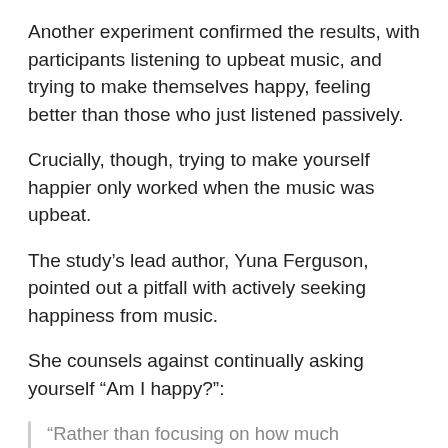Another experiment confirmed the results, with participants listening to upbeat music, and trying to make themselves happy, feeling better than those who just listened passively.
Crucially, though, trying to make yourself happier only worked when the music was upbeat.
The study's lead author, Yuna Ferguson, pointed out a pitfall with actively seeking happiness from music.
She counsels against continually asking yourself “Am I happy?”:
“Rather than focusing on how much happiness they’ve gained and engaging in that kind of mental calculation, people could focus more on enjoying their experience of the journey towards happiness